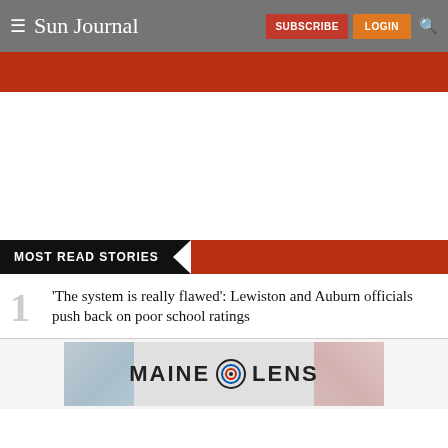Sun Journal | SUBSCRIBE | LOGIN
[Figure (screenshot): Red banner below navigation header]
MOST READ STORIES
1. 'The system is really flawed': Lewiston and Auburn officials push back on poor school ratings
[Figure (logo): Maine Lens advertisement banner]